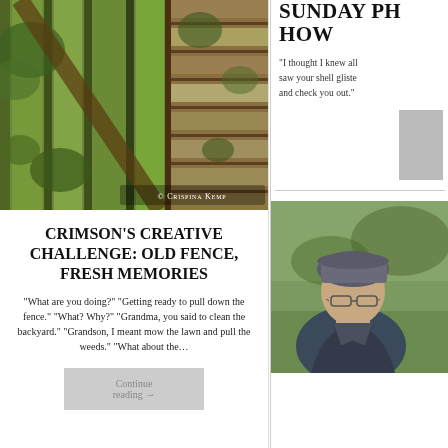[Figure (photo): Photograph of an old wooden fence with green plants/ivy growing on it, credited to Crispina Kemp]
© Crispina Kemp
CRIMSON'S CREATIVE CHALLENGE: OLD FENCE, FRESH MEMORIES
“What are you doing?” “Getting ready to pull down the fence.” “What? Why?” “Grandma, you said to clean the backyard.” “Grandson, I meant mow the lawn and pull the weeds.” “What about the…
Continue reading →
SUNDAY PH... HOW
“I thought I knew all... saw your shell gliste... and check you out.”
[Figure (photo): Portrait photo of a person wearing a grey cap and glasses outdoors]